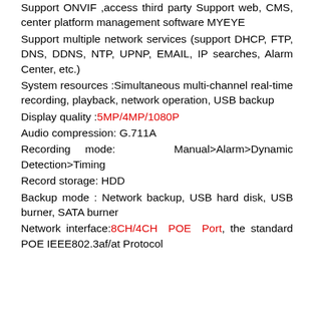Support ONVIF ,access third party Support web, CMS, center platform management software MYEYE
Support multiple network services (support DHCP, FTP, DNS, DDNS, NTP, UPNP, EMAIL, IP searches, Alarm Center, etc.)
System resources :Simultaneous multi-channel real-time recording, playback, network operation, USB backup
Display quality :5MP/4MP/1080P
Audio compression: G.711A
Recording mode: Manual>Alarm>Dynamic Detection>Timing
Record storage: HDD
Backup mode : Network backup, USB hard disk, USB burner, SATA burner
Network interface:8CH/4CH POE Port, the standard POE IEEE802.3af/at Protocol